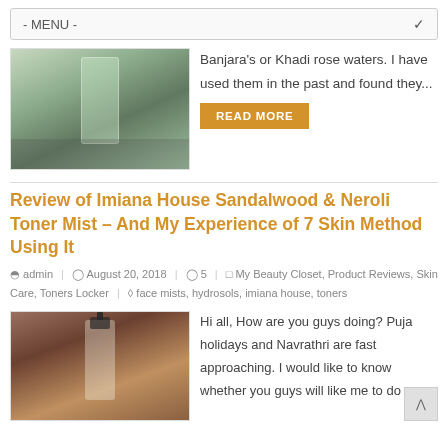- MENU -
[Figure (photo): Photo of a skincare product bottle with green label on a grey surface]
Banjara's or Khadi rose waters. I have used them in the past and found they...
READ MORE
Review of Imiana House Sandalwood & Neroli Toner Mist – And My Experience of 7 Skin Method Using It
admin | August 20, 2018 | 5 | My Beauty Closet, Product Reviews, Skin Care, Toners Locker | face mists, hydrosols, imiana house, toners
[Figure (photo): Photo of a spray bottle with green cap on a brown textured background]
Hi all, How are you guys doing? Puja holidays and Navrathri are fast approaching. I would like to know whether you guys will like me to do